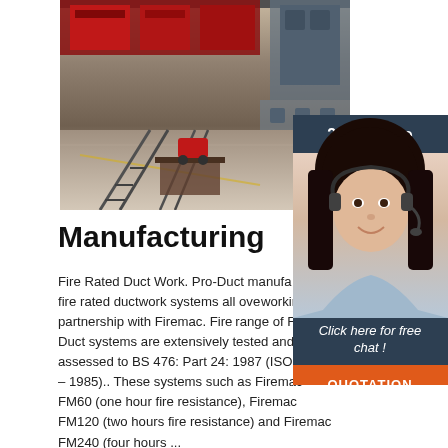[Figure (photo): Factory/manufacturing floor with metal rail tracks, machinery, and industrial equipment]
[Figure (photo): Customer service agent (woman wearing headset) with '24/7 Online' header, 'Click here for free chat!' text, and orange QUOTATION button]
Manufacturing
Fire Rated Duct Work. Pro-Duct manufactures and install fire rated ductwork systems all over working in partnership with Firemac. Fire range of FM Fire Duct systems are extensively tested and assessed to BS 476: Part 24: 1987 (ISO 6944 – 1985).. These systems such as Firemac FM60 (one hour fire resistance), Firemac FM120 (two hours fire resistance) and Firemac FM240 (four hours ...